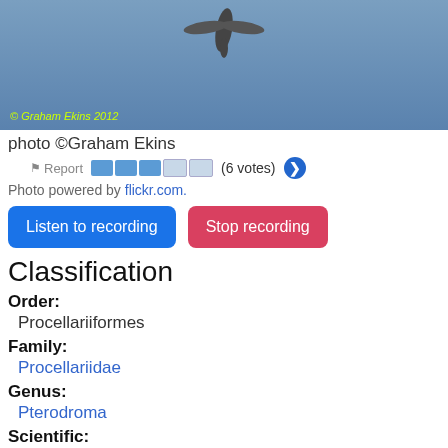[Figure (photo): A bird in flight photographed against a blue sky background. Photo credit watermark reads '© Graham Ekins 2012' in yellow-green text at bottom left.]
photo ©Graham Ekins
Report (6 votes)
Photo powered by flickr.com.
Listen to recording
Stop recording
Classification
Order: Procellariiformes
Family: Procellariidae
Genus: Pterodroma
Scientific: Pterodroma incerta